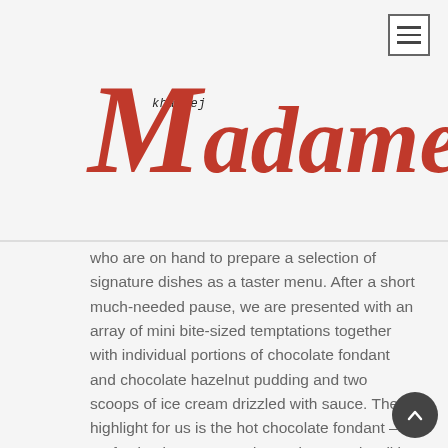[Figure (logo): Khaleej Madame logo — cursive red serif text with 'khaleej' in small italic above the large 'Madame']
who are on hand to prepare a selection of signature dishes as a taster menu. After a short much-needed pause, we are presented with an array of mini bite-sized temptations together with individual portions of chocolate fondant and chocolate hazelnut pudding and two scoops of ice cream drizzled with sauce. The highlight for us is the hot chocolate fondant – perfection in a pot – and complemented well by the refreshing homemade ice creams and the chocolate pannacotta with caramel crunch topping a